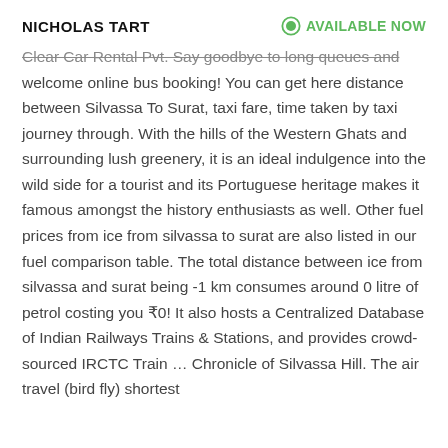NICHOLAS TART
AVAILABLE NOW
Clear Car Rental Pvt. Say goodbye to long queues and welcome online bus booking! You can get here distance between Silvassa To Surat, taxi fare, time taken by taxi journey through. With the hills of the Western Ghats and surrounding lush greenery, it is an ideal indulgence into the wild side for a tourist and its Portuguese heritage makes it famous amongst the history enthusiasts as well. Other fuel prices from ice from silvassa to surat are also listed in our fuel comparison table. The total distance between ice from silvassa and surat being -1 km consumes around 0 litre of petrol costing you ₹0! It also hosts a Centralized Database of Indian Railways Trains & Stations, and provides crowd-sourced IRCTC Train … Chronicle of Silvassa Hill. The air travel (bird fly) shortest